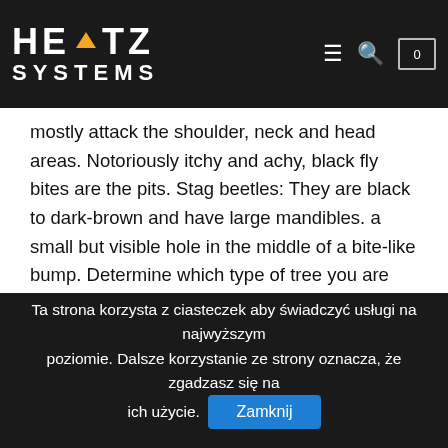HERTZ SYSTEMS
of insects called the testforten bugs. Admin note: This post on how to keep flies away with Pine Sol first appeared on the blog in June 2015 and ... can appear on any area of the human body, however, they mostly attack the shoulder, neck and head areas. Notoriously itchy and achy, black fly bites are the pits. Stag beetles: They are black to dark-brown and have large mandibles. a small but visible hole in the middle of a bite-like bump. Determine which type of tree you are growing as some trees, like the mugo pine, tolerate partial shade. This infestation leads to needle drop, growth problems, branch die-back and tree death. Allow it to remain there for two to three days. Horseflies are large. They also work well planted along structures. I have update the post to add all new photos, more information on pine oil, a project card and a printable label. Although most people can recognize a bee, hornet, or wasp as being a risk for stinging, many perceive flies as harmless. Apply a topical corticosteroid, such as OTC hydrocortisone 1%. The black fly's main nourishment is
Ta strona korzysta z ciasteczek aby świadczyć usługi na najwyższym poziomie. Dalsze korzystanie ze strony oznacza, że zgadzasz się na ich użycie. Zamknij